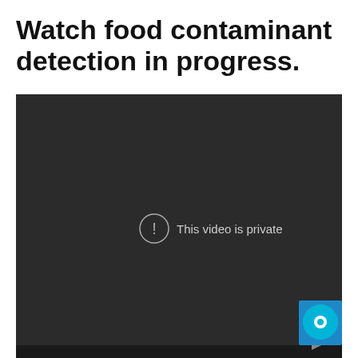Watch food contaminant detection in progress.
[Figure (screenshot): Embedded video player showing a dark background with a private video message. A circle with exclamation icon and the text 'This video is private' are displayed in the center. A chat widget icon appears in the bottom-right corner.]